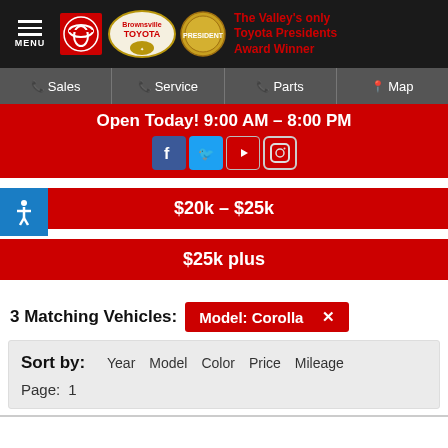[Figure (screenshot): Brownsville Toyota dealership website header with Toyota logo, Brownsville Toyota oval logo, gold Presidents Award medal, and red text 'The Valley's only Toyota Presidents Award Winner' on dark background]
Sales | Service | Parts | Map
Open Today! 9:00 AM – 8:00 PM
$20k – $25k
$25k plus
3 Matching Vehicles: Model: Corolla ✕
Sort by: Year Model Color Price Mileage
Page: 1